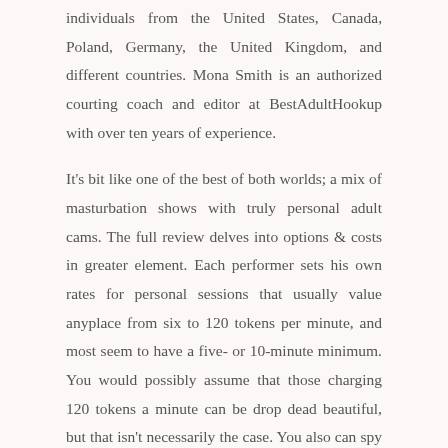individuals from the United States, Canada, Poland, Germany, the United Kingdom, and different countries. Mona Smith is an authorized courting coach and editor at BestAdultHookup with over ten years of experience.
It's bit like one of the best of both worlds; a mix of masturbation shows with truly personal adult cams. The full review delves into options & costs in greater element. Each performer sets his own rates for personal sessions that usually value anyplace from six to 120 tokens per minute, and most seem to have a five- or 10-minute minimum. You would possibly assume that those charging 120 tokens a minute can be drop dead beautiful, but that isn't necessarily the case. You also can spy on someone else's private show, and this typically prices less, principally around six tokens a minute, however I saw one guy charging